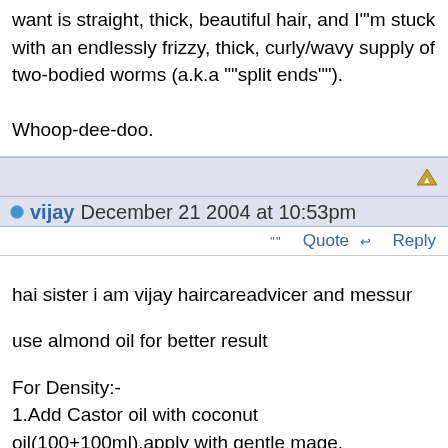want is straight, thick, beautiful hair, and I""m stuck with an endlessly frizzy, thick, curly/wavy supply of two-bodied worms (a.k.a ""split ends"").

Whoop-dee-doo.
vijay December 21 2004 at 10:53pm
Quote   Reply
hai sister i am vijay haircareadvicer and messur

use almond oil for better result

For Density:-
1.Add Castor oil with coconut oil(100+100ml).apply with gentle mage.

2.Take White yoke from Egg.Apply ur Scalp leave 30min before wash ur hair.